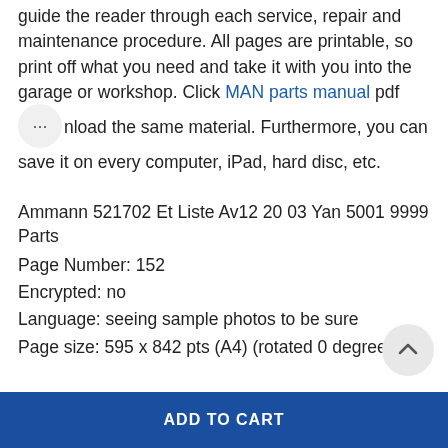guide the reader through each service, repair and maintenance procedure. All pages are printable, so print off what you need and take it with you into the garage or workshop. Click MAN parts manual pdf … nload the same material. Furthermore, you can save it on every computer, iPad, hard disc, etc.
Ammann 521702 Et Liste Av12 20 03 Yan 5001 9999 Parts
Page Number: 152
Encrypted: no
Language: seeing sample photos to be sure
Page size: 595 x 842 pts (A4) (rotated 0 degrees)
ADD TO CART